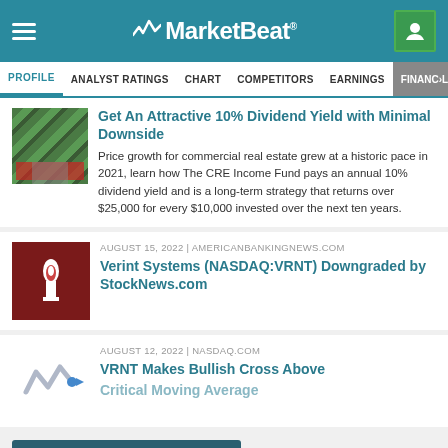MarketBeat
PROFILE | ANALYST RATINGS | CHART | COMPETITORS | EARNINGS | FINANCIALS
Get An Attractive 10% Dividend Yield with Minimal Downside
Price growth for commercial real estate grew at a historic pace in 2021, learn how The CRE Income Fund pays an annual 10% dividend yield and is a long-term strategy that returns over $25,000 for every $10,000 invested over the next ten years.
AUGUST 15, 2022 | AMERICANBANKINGNEWS.COM
Verint Systems (NASDAQ:VRNT) Downgraded by StockNews.com
AUGUST 12, 2022 | NASDAQ.COM
VRNT Makes Bullish Cross Above
Critical Moving Average
SEE MORE HEADLINES >